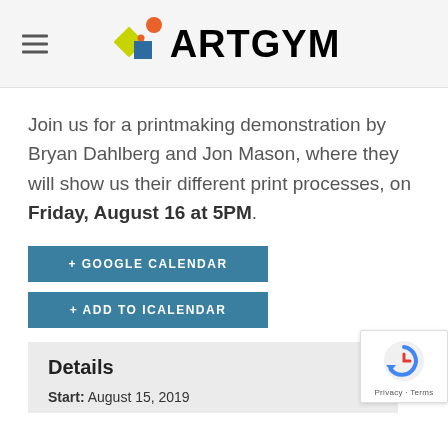iARTGYM
Join us for a printmaking demonstration by Bryan Dahlberg and Jon Mason, where they will show us their different print processes, on Friday, August 16 at 5PM.
+ GOOGLE CALENDAR
+ ADD TO ICALENDAR
Details
Start: August 15, 2019